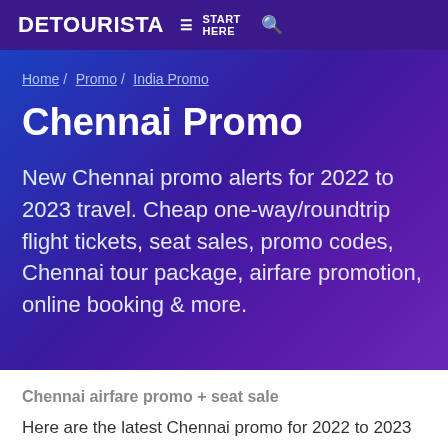DETOURISTA  ≡ START HERE  🔍
Home / Promo / India Promo
Chennai Promo
New Chennai promo alerts for 2022 to 2023 travel. Cheap one-way/roundtrip flight tickets, seat sales, promo codes, Chennai tour package, airfare promotion, online booking & more.
Chennai airfare promo + seat sale
Here are the latest Chennai promo for 2022 to 2023